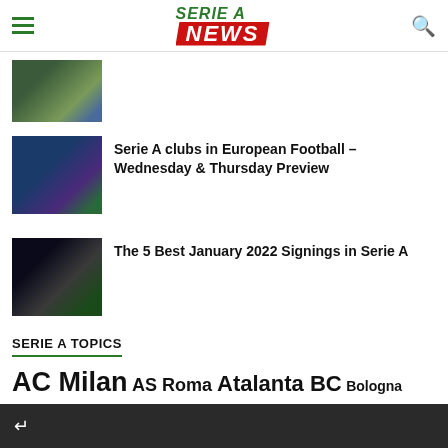Serie A News
[Figure (photo): Football players on grass, one in yellow jersey]
[Figure (photo): Football player lying on grass in Champions League match]
Serie A clubs in European Football – Wednesday & Thursday Preview
[Figure (photo): Football player on dark stadium pitch at night]
The 5 Best January 2022 Signings in Serie A
SERIE A TOPICS
AC Milan  AS Roma  Atalanta BC  Bologna  rcia  Coppa Italia  Fiorentina  Inter Milan  Italy